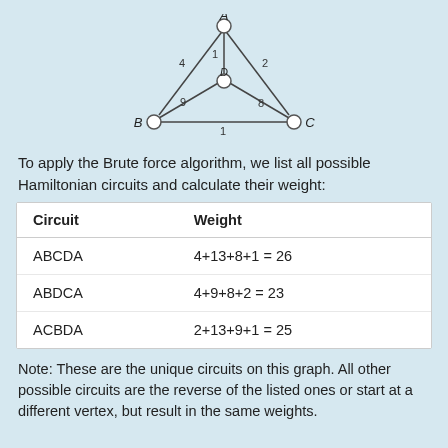[Figure (network-graph): A weighted graph with 4 vertices: A (top), B (bottom-left), C (bottom-right), D (center). Edges: A-B weight 4, A-D weight 1, A-C weight 2, B-D weight 9, B-C weight 1, D-C weight 8.]
To apply the Brute force algorithm, we list all possible Hamiltonian circuits and calculate their weight:
| Circuit | Weight |
| --- | --- |
| ABCDA | 4+13+8+1 = 26 |
| ABDCA | 4+9+8+2 = 23 |
| ACBDA | 2+13+9+1 = 25 |
Note: These are the unique circuits on this graph. All other possible circuits are the reverse of the listed ones or start at a different vertex, but result in the same weights.